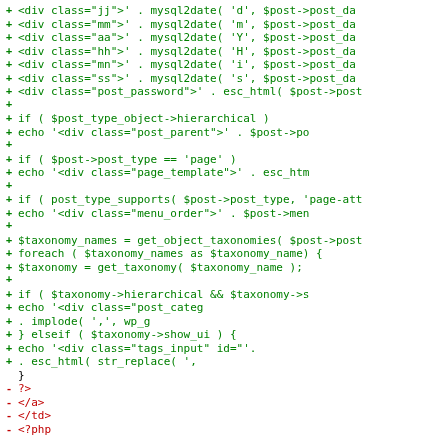[Figure (screenshot): A code diff view showing PHP code additions (green, marked with +) and deletions (red, marked with -). The code deals with WordPress post types, taxonomies, and HTML output via echo statements.]